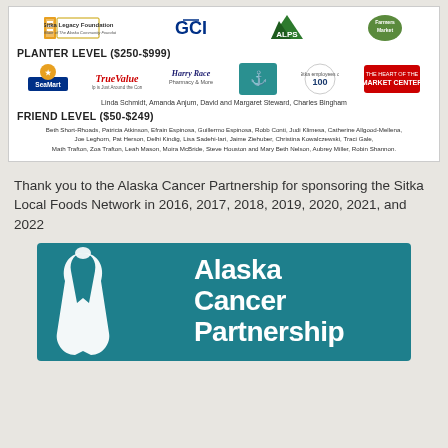[Figure (logo): Row of sponsor logos: Sitka Legacy Foundation, GCI, ALPS, Farmers Market]
PLANTER LEVEL ($250-$999)
[Figure (logo): Row of sponsor logos: SeaMart, True Value, Harry Race Pharmacy & More, anchor/teal logo, Sitka employees of 100+, Market Center]
Linda Schmidt, Amanda Anjum, David and Margaret Steward, Charles Bingham
FRIEND LEVEL ($50-$249)
Beth Short-Rhoads, Patricia Atkinson, Efrain Espinosa, Guillermo Espinosa, Robb Conti, Judi Klimesa, Catherine Allgood-Mellena, Joe Leghorn, Pat Herson, Delhi Kindig, Lisa Sadehi-Iari, Jaime Ziehuber, Christina Kowalczewski, Traci Gale, Math Trafton, Zoa Trafton, Leah Mason, Moira McBride, Steve Houston and Mary Beth Nelson, Aubrey Miller, Robin Shannon.
Thank you to the Alaska Cancer Partnership for sponsoring the Sitka Local Foods Network in 2016, 2017, 2018, 2019, 2020, 2021, and 2022
[Figure (logo): Alaska Cancer Partnership logo with teal background, white ribbon icon, and white text reading Alaska Cancer Partnership]